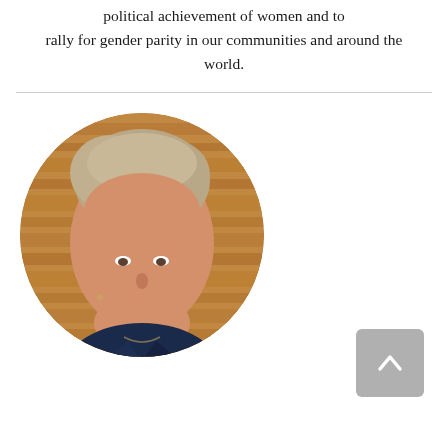political achievement of women and to rally for gender parity in our communities and around the world.
[Figure (photo): Circular portrait photo of a woman with short grey-blonde hair, smiling, wearing a dark navy blazer, with a warm wooden background.]